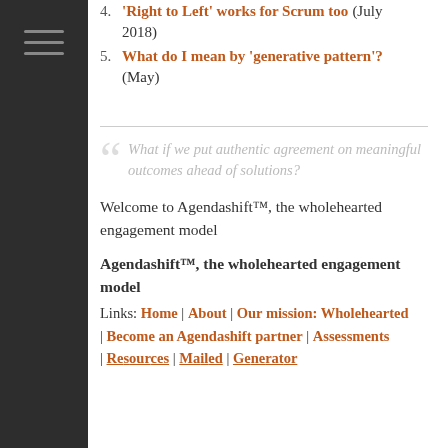4. 'Right to Left' works for Scrum too (July 2018)
5. What do I mean by 'generative pattern'? (May)
What if we put authentic agreement on meaningful outcomes ahead of solutions?
Welcome to Agendashift™, the wholehearted engagement model
Agendashift™, the wholehearted engagement model
Links: Home | About | Our mission: Wholehearted | Become an Agendashift partner | Assessments | ...